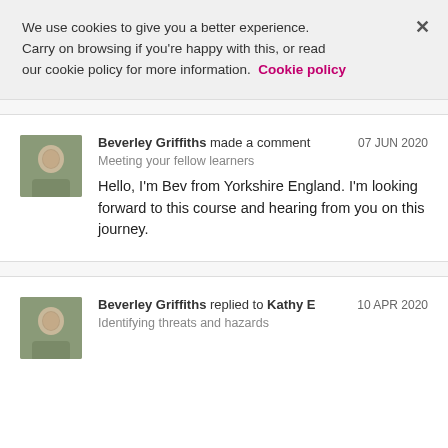We use cookies to give you a better experience. Carry on browsing if you're happy with this, or read our cookie policy for more information. Cookie policy
[Figure (photo): Avatar photo of Beverley Griffiths]
Beverley Griffiths made a comment  07 JUN 2020
Meeting your fellow learners
Hello, I'm Bev from Yorkshire England. I'm looking forward to this course and hearing from you on this journey.
[Figure (photo): Avatar photo of Beverley Griffiths]
Beverley Griffiths replied to Kathy E  10 APR 2020
Identifying threats and hazards